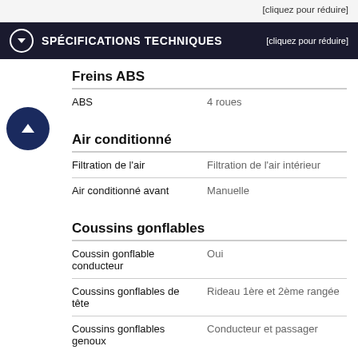[cliquez pour réduire]
SPÉCIFICATIONS TECHNIQUES [cliquez pour réduire]
|  |  |
| --- | --- |
| Freins ABS |  |
| ABS | 4 roues |
|  |  |
| --- | --- |
| Air conditionné |  |
| Filtration de l'air | Filtration de l'air intérieur |
| Air conditionné avant | Manuelle |
|  |  |
| --- | --- |
| Coussins gonflables |  |
| Coussin gonflable conducteur | Oui |
| Coussins gonflables de tête | Rideau 1ère et 2ème rangée |
| Coussins gonflables genoux | Conducteur et passager |